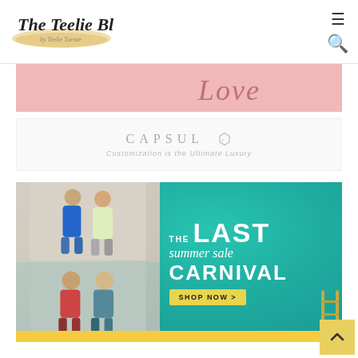[Figure (logo): The Teelie Blog logo with script font and gold brush stroke underline, by Teelie Turner]
[Figure (photo): Pink banner partially visible at top with cursive 'Love' text in rose color]
[Figure (logo): CAPSUL brand banner with hexagonal C logo and tagline 'Customization is the Ultimate Luxury']
[Figure (photo): The Last Summer Sale Carnival advertisement banner on teal/green pool background with two groups of women, yellow SHOP NOW button, pool ladder visible]
[Figure (photo): Partially visible yellow strip at bottom of page]